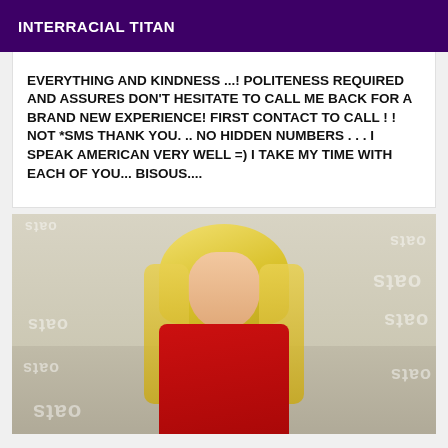INTERRACIAL TITAN
EVERYTHING AND KINDNESS ...! POLITENESS REQUIRED AND ASSURES DON'T HESITATE TO CALL ME BACK FOR A BRAND NEW EXPERIENCE! FIRST CONTACT TO CALL ! ! NOT *SMS THANK YOU. .. NO HIDDEN NUMBERS . . . I SPEAK AMERICAN VERY WELL =) I TAKE MY TIME WITH EACH OF YOU... BISOUS....
[Figure (photo): A blonde woman in a red outfit, with watermark text overlay reading 'oats' repeated in various positions across the image.]